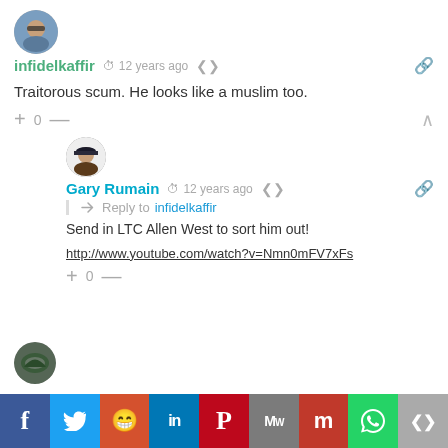[Figure (photo): Circular avatar of user infidelkaffir - person with sunglasses outdoors]
infidelkaffir  🕐 12 years ago  🔗
Traitorous scum. He looks like a muslim too.
+ 0 —
[Figure (photo): Circular avatar of user Gary Rumain - illustrated character with hat]
Gary Rumain  🕐 12 years ago  Reply to infidelkaffir
Send in LTC Allen West to sort him out!
http://www.youtube.com/watch?v=Nmn0mFV7xFs
+ 0 —
[Figure (photo): Circular avatar of a third user - bird/eagle image]
[Figure (infographic): Social sharing bar with icons: Facebook, Twitter, Reddit, LinkedIn, Pinterest, MeWe, Mix, WhatsApp, Share]